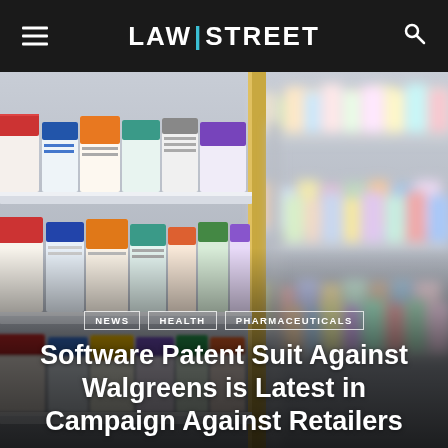LAW|STREET
[Figure (photo): Blurred pharmacy shelves stocked with boxes of medicine and pharmaceutical products, shot from a low angle with shallow depth of field.]
NEWS   HEALTH   PHARMACEUTICALS
Software Patent Suit Against Walgreens is Latest in Campaign Against Retailers